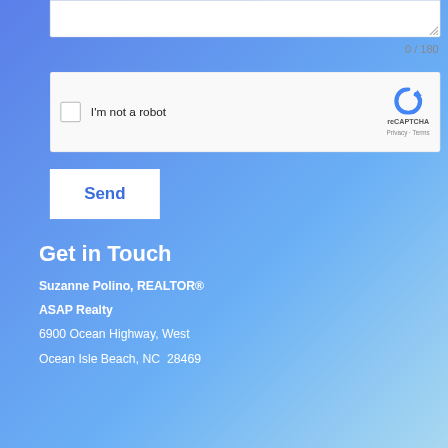[Figure (screenshot): Textarea form field (partially visible at top), showing resizable text input area]
0 / 180
[Figure (screenshot): reCAPTCHA widget with checkbox labeled I'm not a robot, reCAPTCHA logo, Privacy and Terms links]
[Figure (screenshot): Send button, white background with blue text]
Get in Touch
Suzanne Polino, REALTOR®
ASAP Realty
6900 Ocean Highway, West
Ocean Isle Beach, NC  28469